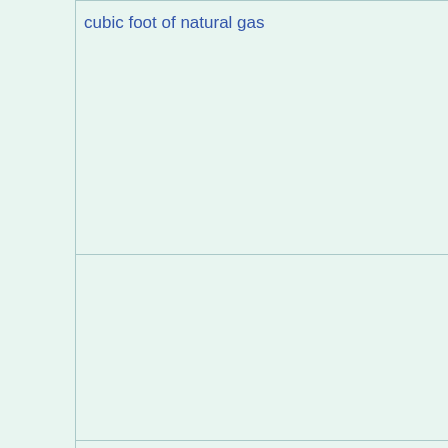| system | unit | unit-code |
| --- | --- | --- |
|  | cubic foot of natural gas | cuftnatura... |
|  | latm[convert: unknown unit] | latm / Latm |
|  | impgalatm[convert: unknown unit] | impgala... |
|  | USgalatm[convert: unknown unit] | USgala... / U.S.gal... (usgala...) |
| system | unit | unit-code |
| --- | --- | --- |